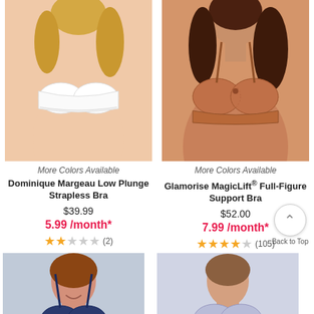[Figure (photo): Woman wearing white strapless bra (Dominique Margeau Low Plunge Strapless Bra)]
[Figure (photo): Woman wearing tan/brown lace wireless bra (Glamorise MagicLift Full-Figure Support Bra)]
More Colors Available
More Colors Available
Dominique Margeau Low Plunge Strapless Bra
Glamorise MagicLift® Full-Figure Support Bra
$39.99
$52.00
5.99 /month*
7.99 /month*
(2) stars rating
(105) stars rating
[Figure (photo): Woman wearing navy blue bra (bottom left product)]
[Figure (photo): Woman wearing lavender/light purple bra (bottom right product)]